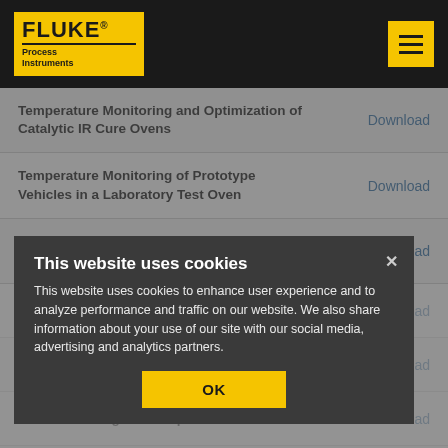[Figure (logo): Fluke Process Instruments logo on dark header with yellow menu button]
Temperature Monitoring and Optimization of Catalytic IR Cure Ovens | Download
Temperature Monitoring of Prototype Vehicles in a Laboratory Test Oven | Download
Validation of the Clean in Process (CIP) Sanitization of Freezer Equipment | Download
This website uses cookies
This website uses cookies to enhance user experience and to analyze performance and traffic on our website. We also share information about your use of our site with our social media, advertising and analytics partners.
OK